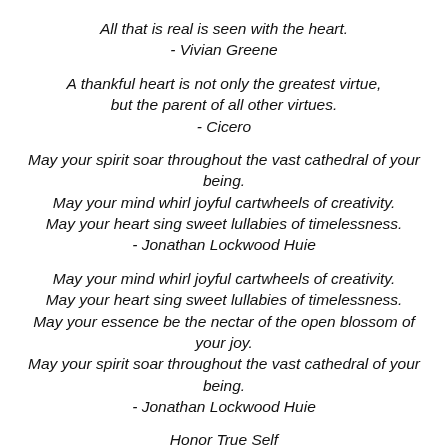All that is real is seen with the heart.
- Vivian Greene
A thankful heart is not only the greatest virtue, but the parent of all other virtues.
- Cicero
May your spirit soar throughout the vast cathedral of your being.
May your mind whirl joyful cartwheels of creativity.
May your heart sing sweet lullabies of timelessness.
- Jonathan Lockwood Huie
May your mind whirl joyful cartwheels of creativity.
May your heart sing sweet lullabies of timelessness.
May your essence be the nectar of the open blossom of your joy.
May your spirit soar throughout the vast cathedral of your being.
- Jonathan Lockwood Huie
Honor True Self
Forgive with Compassion
Receive ALL of life with Thanksgiving
CHOOSE with Thankful Consideration